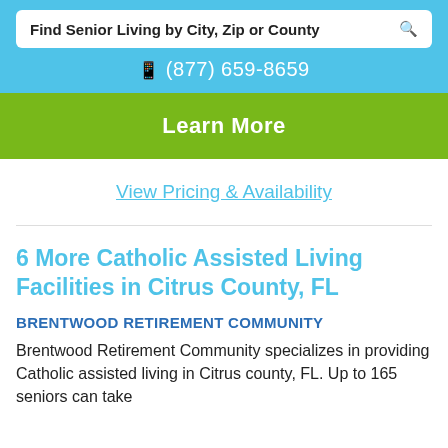Find Senior Living by City, Zip or County
(877) 659-8659
Learn More
View Pricing & Availability
6 More Catholic Assisted Living Facilities in Citrus County, FL
BRENTWOOD RETIREMENT COMMUNITY
Brentwood Retirement Community specializes in providing Catholic assisted living in Citrus county, FL. Up to 165 seniors can take